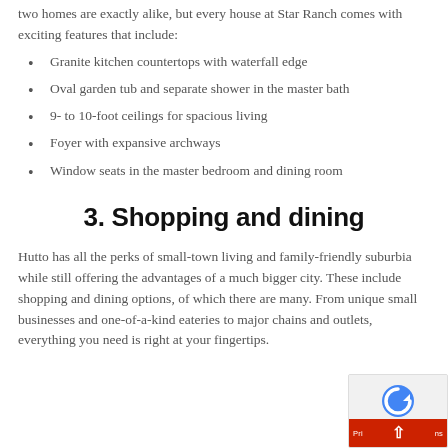two homes are exactly alike, but every house at Star Ranch comes with exciting features that include:
Granite kitchen countertops with waterfall edge
Oval garden tub and separate shower in the master bath
9- to 10-foot ceilings for spacious living
Foyer with expansive archways
Window seats in the master bedroom and dining room
3. Shopping and dining
Hutto has all the perks of small-town living and family-friendly suburbia while still offering the advantages of a much bigger city. These include shopping and dining options, of which there are many. From unique small businesses and one-of-a-kind eateries to major chains and outlets, everything you need is right at your fingertips.